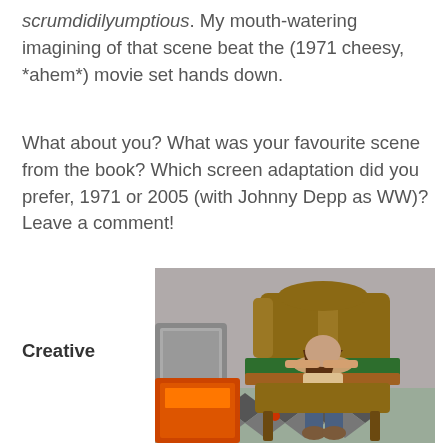scrumdidilyumptious. My mouth-watering imagining of that scene beat the (1971 cheesy, *ahem*) movie set hands down.
What about you? What was your favourite scene from the book? Which screen adaptation did you prefer, 1971 or 2005 (with Johnny Depp as WW)? Leave a comment!
Creative
[Figure (photo): A person with long hair slumped forward over a green-topped vintage chair/slot machine, wearing jeans and boots, in a room with a tiled floor and old TV in background.]